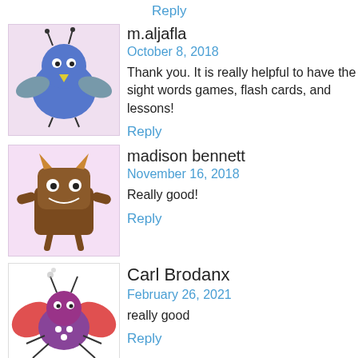Reply
[Figure (illustration): Cartoon blue bird/monster avatar with wings and antennae on pink background]
m.aljafla
October 8, 2018
Thank you. It is really helpful to have the sight words games, flash cards, and lessons!
Reply
[Figure (illustration): Cartoon brown monster with horns avatar on pink background]
madison bennett
November 16, 2018
Really good!
Reply
[Figure (illustration): Cartoon crab/butterfly purple creature avatar on white background]
Carl Brodanx
February 26, 2021
really good
Reply